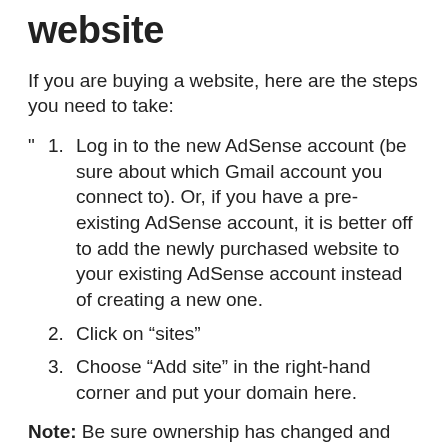website
If you are buying a website, here are the steps you need to take:
1. Log in to the new AdSense account (be sure about which Gmail account you connect to). Or, if you have a pre-existing AdSense account, it is better off to add the newly purchased website to your existing AdSense account instead of creating a new one.
2. Click on “sites”
3. Choose “Add site” in the right-hand corner and put your domain here.
Note: Be sure ownership has changed and that the seller’s AdSense has been fully